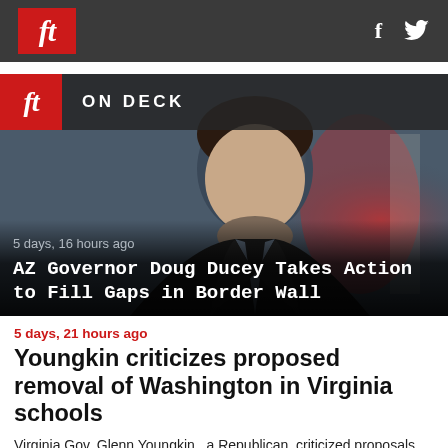ft — social icons: f, twitter bird
[Figure (photo): Hero image with 'ON DECK' banner; photo of a man in a dark suit (AZ Governor Doug Ducey) looking stern, red/grey blurred background with flag]
5 days, 16 hours ago
AZ Governor Doug Ducey Takes Action to Fill Gaps in Border Wall
5 days, 21 hours ago
Youngkin criticizes proposed removal of Washington in Virginia schools
Virginia Gov. Glenn Youngkin , a Republican, criticized proposals from the Virginia Department of Education to remove references to George